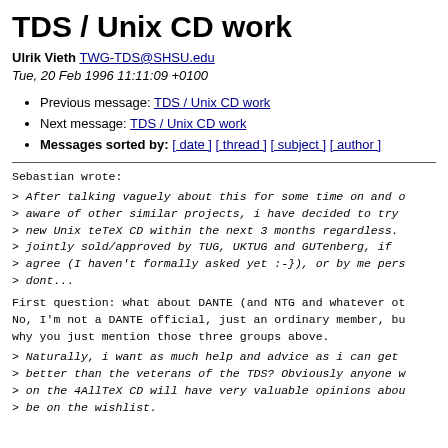TDS / Unix CD work
Ulrik Vieth TWG-TDS@SHSU.edu
Tue, 20 Feb 1996 11:11:09 +0100
Previous message: TDS / Unix CD work
Next message: TDS / Unix CD work
Messages sorted by: [ date ] [ thread ] [ subject ] [ author ]
Sebastian wrote:
> After talking vaguely about this for some time on and o
> aware of other similar projects, i have decided to try
> new Unix teTeX CD within the next 3 months regardless.
> jointly sold/approved by TUG, UKTUG and GUTenberg, if
> agree (I haven't formally asked yet :-}), or by me pers
> dont...
First question: what about DANTE (and NTG and whatever ot
No, I'm not a DANTE official, just an ordinary member, bu
why you just mention those three groups above.
> Naturally, i want as much help and advice as i can get
> better than the veterans of the TDS? Obviously anyone w
> on the 4AllTeX CD will have very valuable opinions abou
> be on the wishlist.